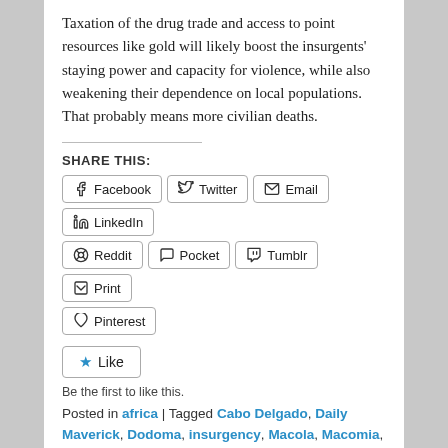Taxation of the drug trade and access to point resources like gold will likely boost the insurgents' staying power and capacity for violence, while also weakening their dependence on local populations. That probably means more civilian deaths.
SHARE THIS:
Facebook | Twitter | Email | LinkedIn | Reddit | Pocket | Tumblr | Print | Pinterest
Like — Be the first to like this.
Posted in africa | Tagged Cabo Delgado, Daily Maverick, Dodoma, insurgency, Macola, Macomia, maputo, mozambique, Pemba, tanzania | Leave a reply